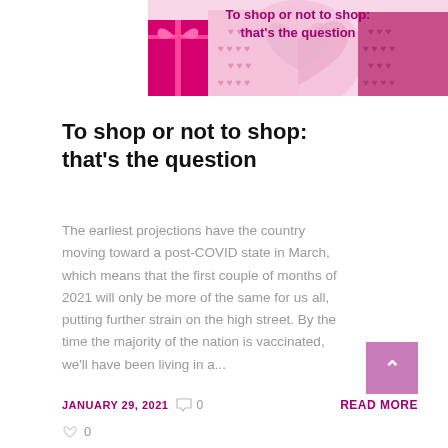[Figure (illustration): Hero banner image with pink and magenta heart-themed gift boxes/cards on a light pink background, with the article title overlaid in purple text]
To shop or not to shop: that's the question
The earliest projections have the country moving toward a post-COVID state in March, which means that the first couple of months of 2021 will only be more of the same for us all, putting further strain on the high street. By the time the majority of the nation is vaccinated, we'll have been living in a...
JANUARY 29, 2021  0
READ MORE
0